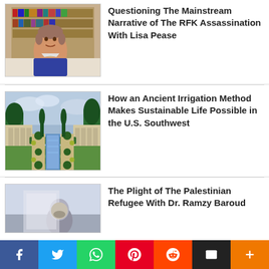[Figure (photo): Woman sitting in front of a bookshelf in a video call screenshot]
Questioning The Mainstream Narrative of The RFK Assassination With Lisa Pease
[Figure (photo): Ancient formal garden with a long water canal flanked by hedges and a building]
How an Ancient Irrigation Method Makes Sustainable Life Possible in the U.S. Southwest
[Figure (photo): Partially visible image related to Palestinian refugee article]
The Plight of The Palestinian Refugee With Dr. Ramzy Baroud